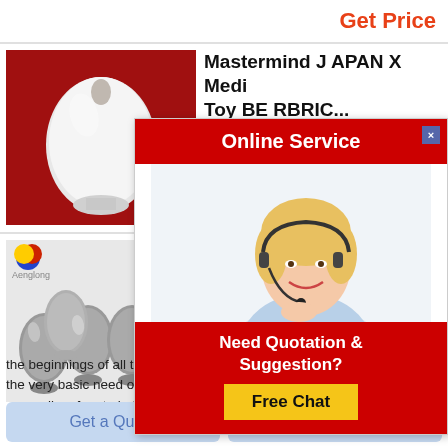Get Price
[Figure (photo): White egg-shaped object on red background]
Mastermind JAPAN X Medicom Toy BE RBRIC...
Jan 25 2020  maste... toy s 100 400 set a... will be available for... shibuya
[Figure (photo): Four grey egg-shaped metallic objects on light grey background with Aenglong logo]
History Of Arc...
The history of archi... in architecture throu... regions overarching... the beginnings of all these traditions is thought to be humans satisfying the very basic need of shelter and protection the term architecture generally refers to buildings but in its essence is much broader including fields we now consider
[Figure (screenshot): Online Service popup with customer service agent photo, red header, and Free Chat button]
Get a Quote
Chat Now